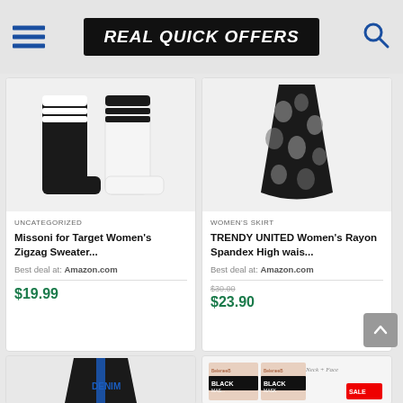REAL QUICK OFFERS
[Figure (photo): Two pairs of over-the-knee socks, one black with white stripes and one white with black stripes]
UNCATEGORIZED
Missoni for Target Women's Zigzag Sweater...
Best deal at: Amazon.com
$19.99
[Figure (photo): Black and white floral print skirt, high waist style]
WOMEN'S SKIRT
TRENDY UNITED Women's Rayon Spandex High wais...
Best deal at: Amazon.com
$30.00 $23.90
[Figure (photo): Man wearing a dark blue/black zip-up hoodie jacket with blue interior lining]
[Figure (photo): Beauty products including black face masks and skincare items on sale]